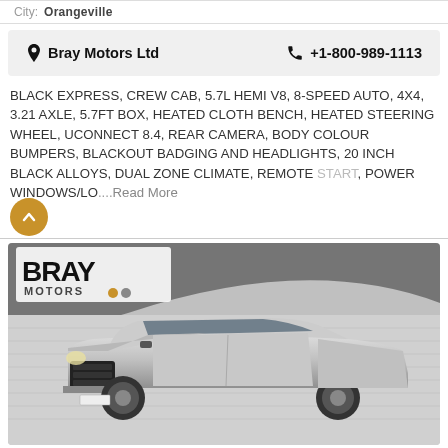City: Orangeville
Bray Motors Ltd   +1-800-989-1113
BLACK EXPRESS, CREW CAB, 5.7L HEMI V8, 8-SPEED AUTO, 4X4, 3.21 AXLE, 5.7FT BOX, HEATED CLOTH BENCH, HEATED STEERING WHEEL, UCONNECT 8.4, REAR CAMERA, BODY COLOUR BUMPERS, BLACKOUT BADGING AND HEADLIGHTS, 20 INCH BLACK ALLOYS, DUAL ZONE CLIMATE, REMOTE START, POWER WINDOWS/LO....Read More
[Figure (photo): Silver Ram 1500 crew cab pickup truck in front of Bray Motors dealer backdrop with brick wall background]